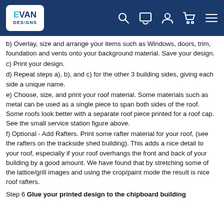EVAN DESIGNS
b) Overlay, size and arrange your items such as Windows, doors, trim, foundation and vents onto your background material. Save your design.
c) Print your design.
d) Repeat steps a), b), and c) for the other 3 building sides, giving each side a unique name.
e) Choose, size, and print your roof material. Some materials such as metal can be used as a single piece to span both sides of the roof. Some roofs look better with a separate roof piece printed for a roof cap. See the small service station figure above.
f) Optional - Add Rafters. Print some rafter material for your roof, (see the rafters on the trackside shed building). This adds a nice detail to your roof, especially if your roof overhangs the front and back of your building by a good amount. We have found that by stretching some of the lattice/grill images and using the crop/paint mode the result is nice roof rafters.
Step 6 Glue your printed design to the chipboard building